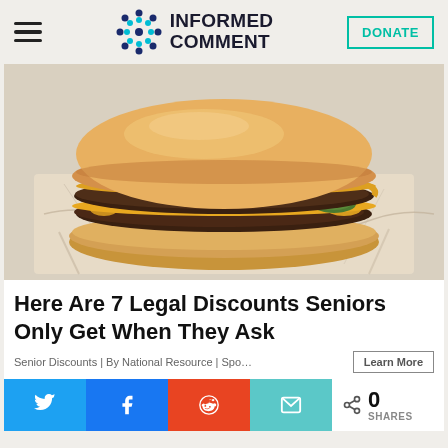INFORMED COMMENT
[Figure (photo): A cheeseburger with double beef patties, cheese, and pickles on a white sesame bun, sitting on crinkled fast-food wrapper paper.]
Here Are 7 Legal Discounts Seniors Only Get When They Ask
Senior Discounts | By National Resource | Sponsored
0 SHARES